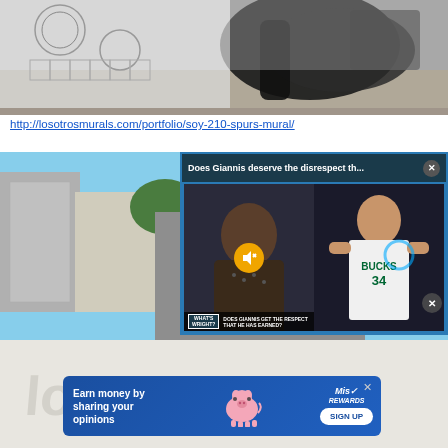[Figure (photo): Black and white mural with graffiti-style lettering and decorative patterns on a wall]
http://losotrosmurals.com/portfolio/soy-210-spurs-mural/
[Figure (photo): Outdoor basketball hoop attached to a gray wall with city buildings in background]
[Figure (screenshot): Video popup overlay titled 'Does Giannis deserve the disrespect th...' showing a sports talk show 'What's Wright?' with host and Giannis Antetokounmpo (#34, Bucks) side by side, with mute button and close button]
[Figure (photo): Advertisement banner: 'Earn money by sharing your opinions' with MisRewards logo, pink pig illustration, and SIGN UP button]
[Figure (photo): Faded mural/watermark text visible at bottom of page]